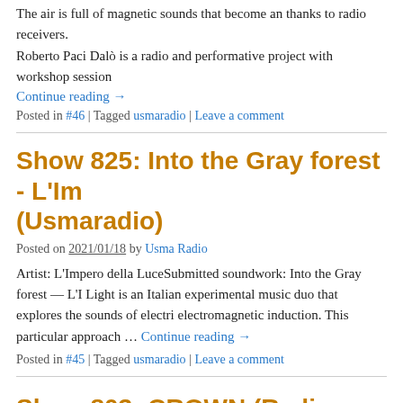The air is full of magnetic sounds that become an thanks to radio receivers. Roberto Paci Dalò is a radio and performative project with workshop session
Continue reading →
Posted in #46 | Tagged usmaradio | Leave a comment
Show 825: Into the Gray forest - L'Im (Usmaradio)
Posted on 2021/01/18 by Usma Radio
Artist: L'Impero della LuceSubmitted soundwork: Into the Gray forest — L'I Light is an Italian experimental music duo that explores the sounds of electri electromagnetic induction. This particular approach … Continue reading →
Posted in #45 | Tagged usmaradio | Leave a comment
Show 803: CROWN (Radio Papesse +
Posted on 2020/08/17 by radio papesse
It has been many months now that we've all been asking ourselves : how's li